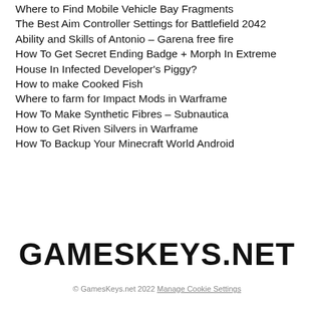Where to Find Mobile Vehicle Bay Fragments
The Best Aim Controller Settings for Battlefield 2042
Ability and Skills of Antonio – Garena free fire
How To Get Secret Ending Badge + Morph In Extreme House In Infected Developer's Piggy?
How to make Cooked Fish
Where to farm for Impact Mods in Warframe
How To Make Synthetic Fibres – Subnautica
How to Get Riven Silvers in Warframe
How To Backup Your Minecraft World Android
GAMESKEYS.NET
© GamesKeys.net 2022 Manage Cookie Settings